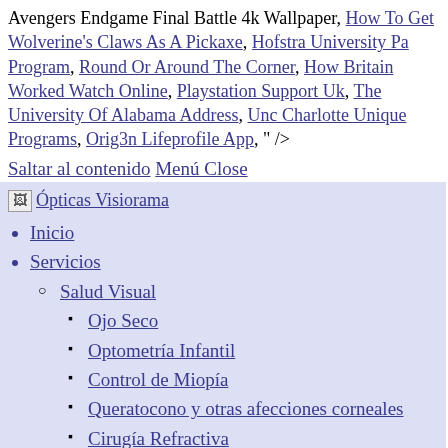Avengers Endgame Final Battle 4k Wallpaper, How To Get Wolverine's Claws As A Pickaxe, Hofstra University Pa Program, Round Or Around The Corner, How Britain Worked Watch Online, Playstation Support Uk, The University Of Alabama Address, Unc Charlotte Unique Programs, Orig3n Lifeprofile App, " />
Saltar al contenido Menú Close
[Figure (other): Logo image placeholder for Ópticas Visiorama]
Inicio
Servicios
Salud Visual
Ojo Seco
Optometría Infantil
Control de Miopía
Queratocono y otras afecciones corneales
Cirugía Refractiva
Lentes de Contacto
Lentes de Contacto Esclerales
Ortoqueratología
Audiología
Audífonos
Óptica Deportiva
Tarjeta VisioSalud
Ofertas y promociones
Tour Virtual